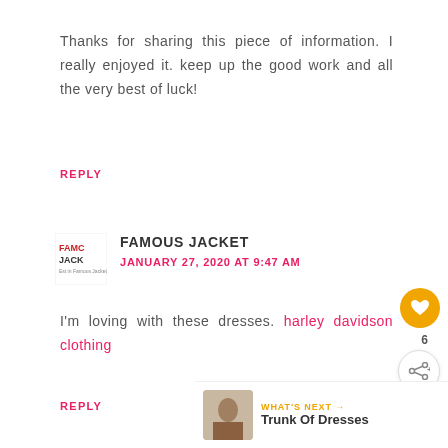Thanks for sharing this piece of information. I really enjoyed it. keep up the good work and all the very best of luck!
REPLY
[Figure (logo): Famous Jacket logo — red/dark text on white background]
FAMOUS JACKET
JANUARY 27, 2020 AT 9:47 AM
I'm loving with these dresses. harley davidson clothing
REPLY